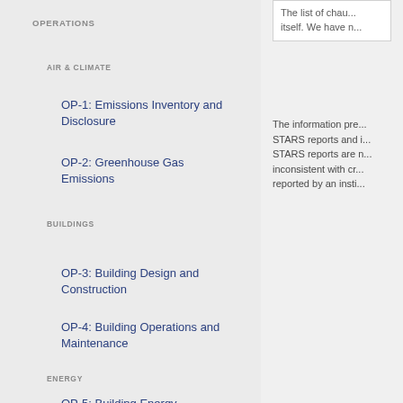OPERATIONS
AIR & CLIMATE
OP-1: Emissions Inventory and Disclosure
OP-2: Greenhouse Gas Emissions
BUILDINGS
OP-3: Building Design and Construction
OP-4: Building Operations and Maintenance
ENERGY
OP-5: Building Energy
The list of chau... itself. We have n...
The information pre... STARS reports and i... STARS reports are n... inconsistent with cr... reported by an insti...